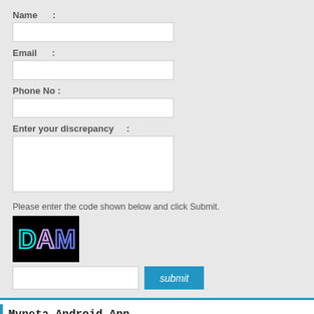Name :
Email :
Phone No :
Enter your discrepancy :
Please enter the code shown below and click Submit.
[Figure (other): CAPTCHA image showing letters D A M in cyan and blue-purple on black background]
Myneta Android App
[Figure (screenshot): Myneta.info Android app banner with logo, Indian flag, Android mascot, and phone showing Lok Sabha Assam screen]